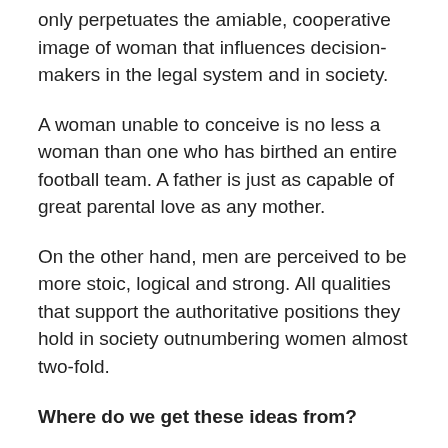only perpetuates the amiable, cooperative image of woman that influences decision-makers in the legal system and in society.
A woman unable to conceive is no less a woman than one who has birthed an entire football team. A father is just as capable of great parental love as any mother.
On the other hand, men are perceived to be more stoic, logical and strong. All qualities that support the authoritative positions they hold in society outnumbering women almost two-fold.
Where do we get these ideas from?
I don't know. Here's one possible explanation. Humans have a driving need to label things in order to understand them better and navigate the world by being able to identify and differentiate between objects. Otherwise how